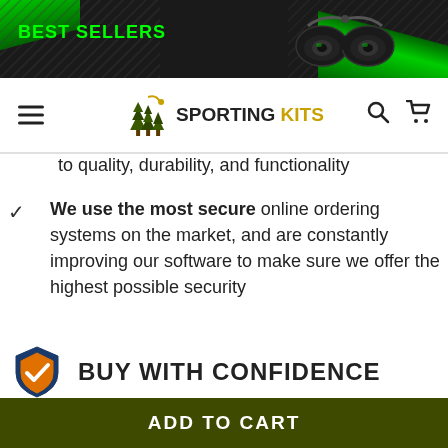[Figure (screenshot): E-commerce website screenshot for Sporting Kits showing best sellers banner with binoculars, navigation bar with hamburger menu and logo, product page content with trust badges and buy with confidence section]
BEST SELLERS
to quality, durability, and functionality
We use the most secure online ordering systems on the market, and are constantly improving our software to make sure we offer the highest possible security
BUY WITH CONFIDENCE
Our mission is to make your shopping experience as and enjoyable as possible. Have questions? Feel fre contact our award-winning customer care team for advice
ADD TO CART